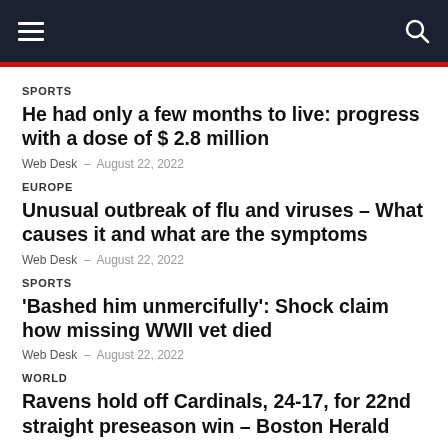Navigation bar with hamburger menu and search icon
SPORTS
He had only a few months to live: progress with a dose of $ 2.8 million
Web Desk – August 22, 2022
EUROPE
Unusual outbreak of flu and viruses – What causes it and what are the symptoms
Web Desk – August 22, 2022
SPORTS
'Bashed him unmercifully': Shock claim how missing WWII vet died
Web Desk – August 22, 2022
WORLD
Ravens hold off Cardinals, 24-17, for 22nd straight preseason win – Boston Herald